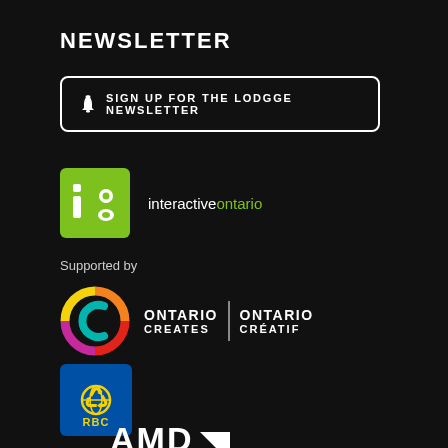NEWSLETTER
🔔  SIGN UP FOR THE LODGGE NEWSLETTER
[Figure (logo): Interactive Ontario logo: green square with 'io' text and 'interactive ontario' wordmark in white and green]
Supported by
[Figure (logo): Ontario Creates / Ontario Créatif logo with multicolor circular icon]
[Figure (logo): RBC Royal Bank of Canada logo: blue square with yellow lion and globe, RBC text]
[Figure (logo): AMD logo: white letters AMD partially visible at bottom]